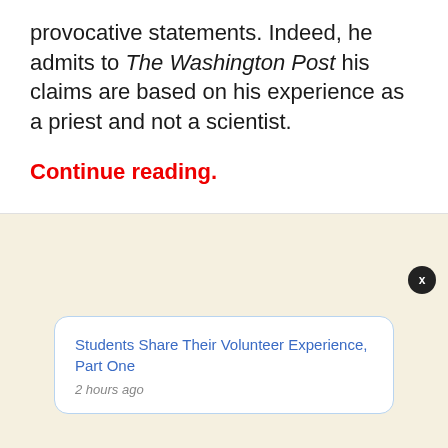provocative statements. Indeed, he admits to The Washington Post his claims are based on his experience as a priest and not a scientist.
Continue reading.
Students Share Their Volunteer Experience, Part One
2 hours ago